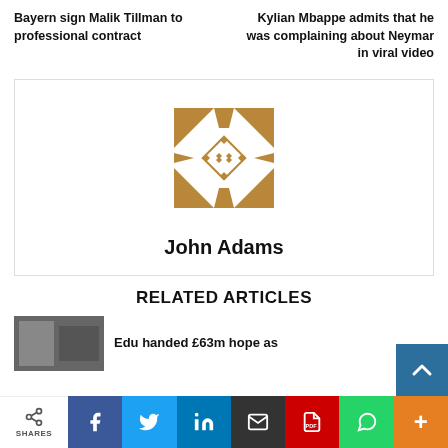Bayern sign Malik Tillman to professional contract
Kylian Mbappe admits that he was complaining about Neymar in viral video
[Figure (logo): Author avatar: decorative geometric pattern in brown/tan with diamond and triangle shapes, for author John Adams]
John Adams
RELATED ARTICLES
Edu handed £63m hope as
SHARES | Facebook | Twitter | LinkedIn | Email | PDF | WhatsApp | More